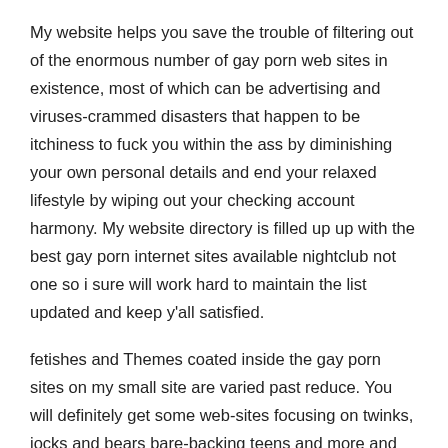My website helps you save the trouble of filtering out of the enormous number of gay porn web sites in existence, most of which can be advertising and viruses-crammed disasters that happen to be itchiness to fuck you within the ass by diminishing your own personal details and end your relaxed lifestyle by wiping out your checking account harmony. My website directory is filled up up with the best gay porn internet sites available nightclub not one so i sure will work hard to maintain the list updated and keep y'all satisfied.
fetishes and Themes coated inside the gay porn sites on my small site are varied past reduce. You will definitely get some web-sites focusing on twinks, jocks and bears bare-backing teens and more and considering the assortment readily available there is no way you can't be at liberty with what's being offered listed here. Themes, categories and fetishes apart, the content on these blogs are different far too, and range between XXX-graded movies and